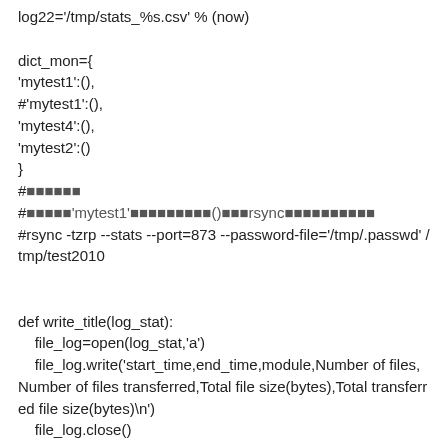log22='/tmp/stats_%s.csv' % (now)

dict_mon={
'mytest1':(),
#'mytest1':(),
'mytest4':(),
'mytest2':()
}
#xxxxxx
#xxxxx'mytest1'xxxxxxxxxx()xxxrsyncxxxxxxxxxxxxxx
#rsync -tzrp --stats --port=873 --password-file='/tmp/.passwd' /tmp/test2010


def write_title(log_stat):
    file_log=open(log_stat,'a')
    file_log.write('start_time,end_time,module,Number of files,Number of files transferred,Total file size(bytes),Total transferred file size(bytes)\n')
    file_log.close()